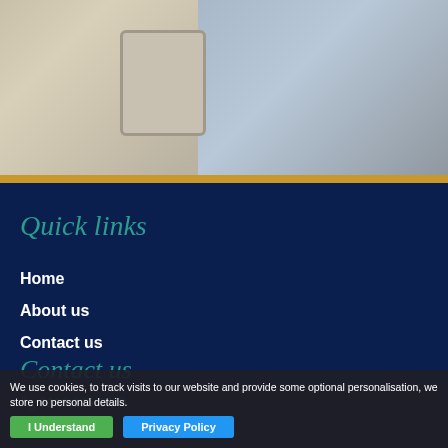[Figure (photo): Two people, one holding a tablet/book, photographed from chest up. Left person has long blonde hair wearing white. Right person wearing light blue shirt.]
Quick links
Home
About us
Contact us
Contact us
0118 925 0770
woking...
We use cookies, to track visits to our website and provide some optional personalisation, we store no personal details.
I Understand
Privacy Policy